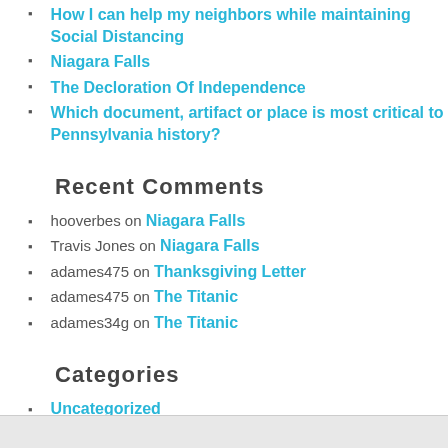How I can help my neighbors while maintaining Social Distancing
Niagara Falls
The Decloration Of Independence
Which document, artifact or place is most critical to Pennsylvania history?
Recent Comments
hooverbes on Niagara Falls
Travis Jones on Niagara Falls
adames475 on Thanksgiving Letter
adames475 on The Titanic
adames34g on The Titanic
Categories
Uncategorized